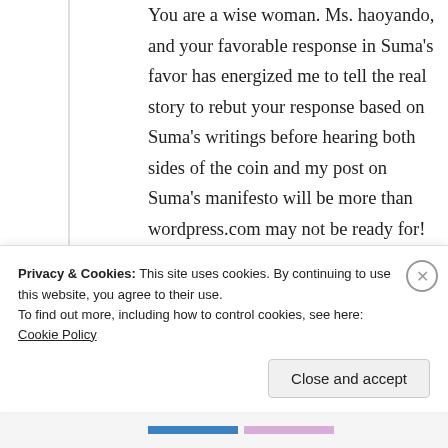You are a wise woman. Ms. haoyando, and your favorable response in Suma's favor has energized me to tell the real story to rebut your response based on Suma's writings before hearing both sides of the coin and my post on Suma's manifesto will be more than wordpress.com may not be ready for!
★ Liked by 1 person
Log in to Reply
Privacy & Cookies: This site uses cookies. By continuing to use this website, you agree to their use. To find out more, including how to control cookies, see here: Cookie Policy
Close and accept